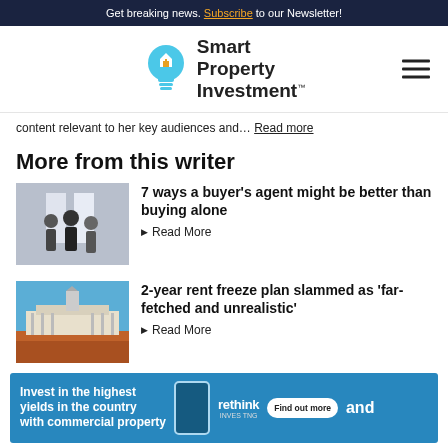Get breaking news. Subscribe to our Newsletter!
[Figure (logo): Smart Property Investment logo with lightbulb icon and hamburger menu]
content relevant to her key audiences and… Read more
More from this writer
[Figure (photo): People shaking hands indoors, buyer agent article thumbnail]
7 ways a buyer's agent might be better than buying alone
Read More
[Figure (photo): Australian Parliament House, rent freeze article thumbnail]
2-year rent freeze plan slammed as 'far-fetched and unrealistic'
Read More
[Figure (infographic): Rethink commercial property investment ad banner: Invest in the highest yields in the country with commercial property. Find out more.]